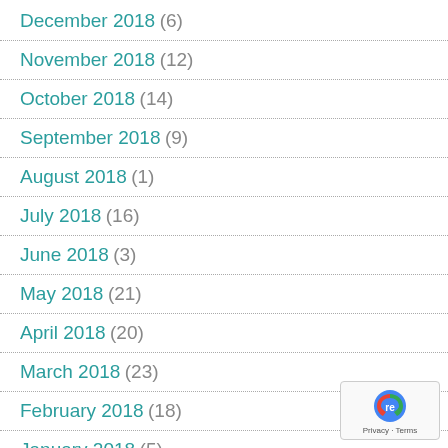December 2018 (6)
November 2018 (12)
October 2018 (14)
September 2018 (9)
August 2018 (1)
July 2018 (16)
June 2018 (3)
May 2018 (21)
April 2018 (20)
March 2018 (23)
February 2018 (18)
January 2018 (5)